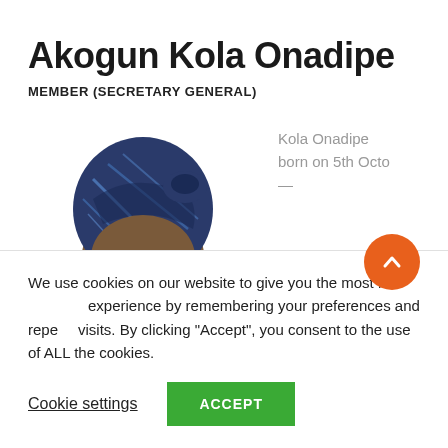Akogun Kola Onadipe
MEMBER (SECRETARY GENERAL)
[Figure (photo): Portrait photo of Kola Onadipe wearing a blue patterned headwrap and glasses]
Kola Onadipe born on 5th Octo...
We use cookies on our website to give you the most relevant experience by remembering your preferences and repeat visits. By clicking “Accept”, you consent to the use of ALL the cookies.
Cookie settings
ACCEPT